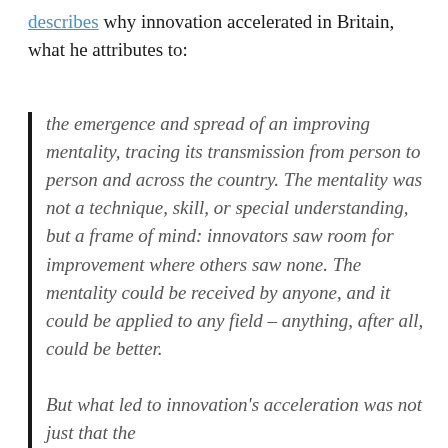describes why innovation accelerated in Britain, what he attributes to:
the emergence and spread of an improving mentality, tracing its transmission from person to person and across the country. The mentality was not a technique, skill, or special understanding, but a frame of mind: innovators saw room for improvement where others saw none. The mentality could be received by anyone, and it could be applied to any field – anything, after all, could be better.
But what led to innovation's acceleration was not just that the